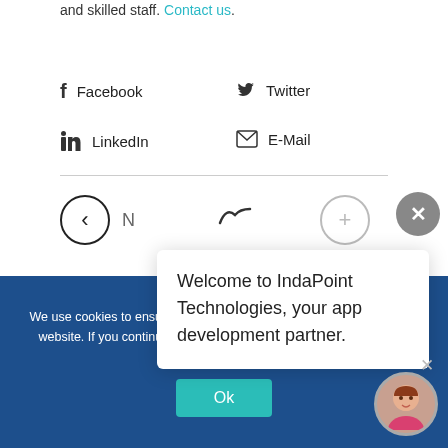and skilled staff. Contact us.
Facebook
Twitter
LinkedIn
E-Mail
Welcome to IndaPoint Technologies, your app development partner.
Subsc
We use cookies to ensure that we give you the best experience on our website. If you continue to use this site we will assume that you are happy with it.
Ok